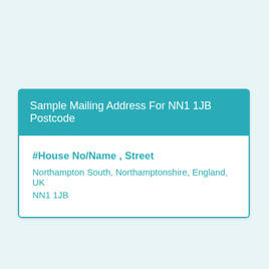Sample Mailing Address For NN1 1JB Postcode
#House No/Name , Street
Northampton South, Northamptonshire, England, UK
NN1 1JB